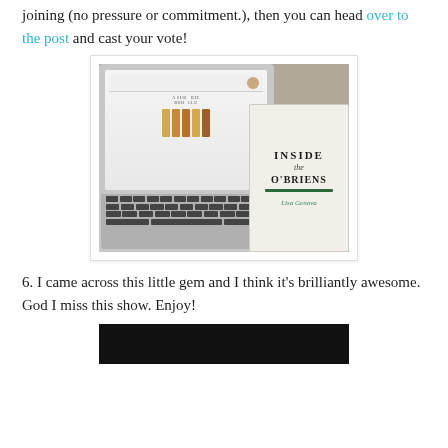joining (no pressure or commitment.), then you can head over to the post and cast your vote!
[Figure (photo): Photo of a laptop showing a book club website, with a copy of 'Inside the O'Briens' by Lisa Genova resting on the keyboard.]
6. I came across this little gem and I think it’s brilliantly awesome. God I miss this show. Enjoy!
[Figure (photo): Partial image at bottom of page, dark background, appears to be a video or show screenshot.]